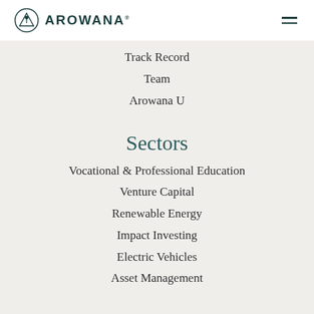AROWANA
Track Record
Team
Arowana U
Sectors
Vocational & Professional Education
Venture Capital
Renewable Energy
Impact Investing
Electric Vehicles
Asset Management